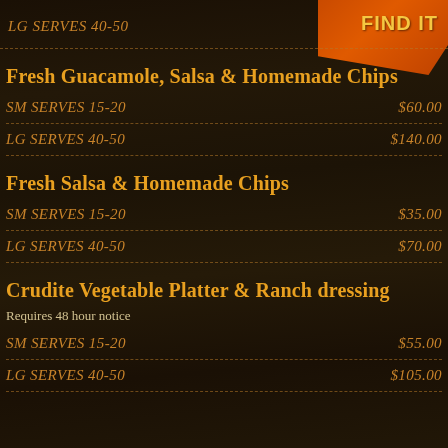LG SERVES 40-50
Fresh Guacamole, Salsa & Homemade Chips
SM SERVES 15-20   $60.00
LG SERVES 40-50   $140.00
Fresh Salsa & Homemade Chips
SM SERVES 15-20   $35.00
LG SERVES 40-50   $70.00
Crudite Vegetable Platter & Ranch dressing
Requires 48 hour notice
SM SERVES 15-20   $55.00
LG SERVES 40-50   $105.00